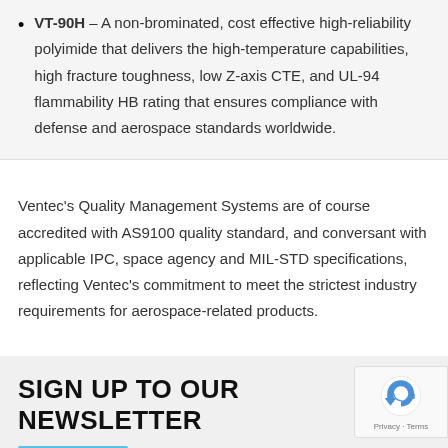VT-90H – A non-brominated, cost effective high-reliability polyimide that delivers the high-temperature capabilities, high fracture toughness, low Z-axis CTE, and UL-94 flammability HB rating that ensures compliance with defense and aerospace standards worldwide.
Ventec's Quality Management Systems are of course accredited with AS9100 quality standard, and conversant with applicable IPC, space agency and MIL-STD specifications, reflecting Ventec's commitment to meet the strictest industry requirements for aerospace-related products.
SIGN UP TO OUR NEWSLETTER